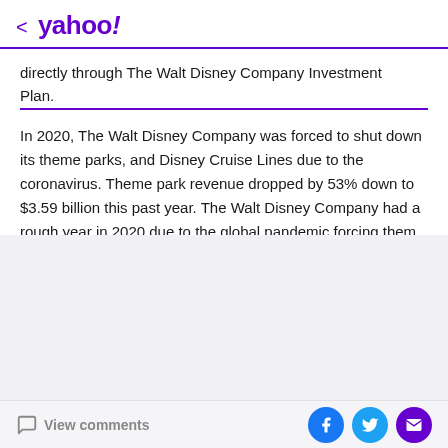< yahoo!
directly through The Walt Disney Company Investment Plan.
In 2020, The Walt Disney Company was forced to shut down its theme parks, and Disney Cruise Lines due to the coronavirus. Theme park revenue dropped by 53% down to $3.59 billion this past year. The Walt Disney Company had a rough year in 2020 due to the global pandemic forcing them to shut down many operations, but recently the company has been trending upward on the stock market.
View comments